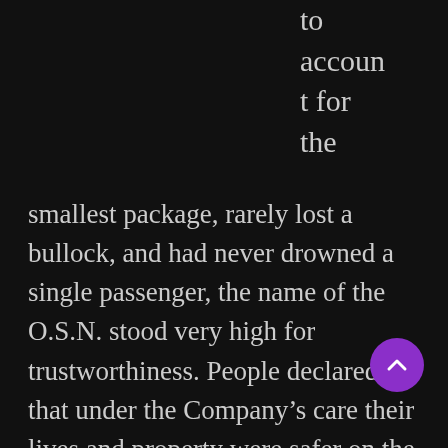to account for the smallest package, rarely lost a bullock, and had never drowned a single passenger, the name of the O.S.N. stood very high for trustworthiness. People declared that under the Company's care their lives and property were safer on the water than in their own houses on shore.
The O.S.N.'s superintendent in Sulaco for the whole Costaguana section of the service was very proud of his Company's standing. He resumed it in a saying which was very often on his lips, “We never